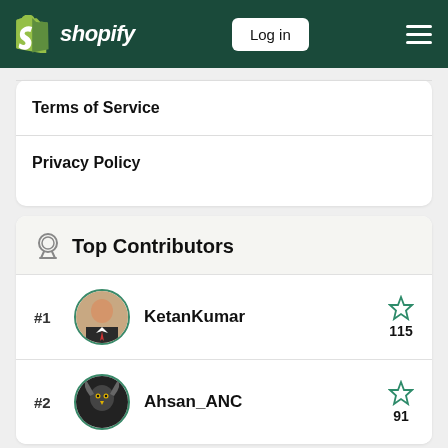shopify — Log in
Terms of Service
Privacy Policy
Top Contributors
#1  KetanKumar  115
#2  Ahsan_ANC  91